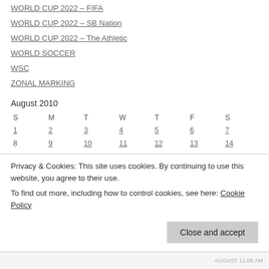WORLD CUP 2022 – FIFA
WORLD CUP 2022 – SB Nation
WORLD CUP 2022 – The Athletic
WORLD SOCCER
WSC
ZONAL MARKING
| S | M | T | W | T | F | S |
| --- | --- | --- | --- | --- | --- | --- |
| 1 | 2 | 3 | 4 | 5 | 6 | 7 |
| 8 | 9 | 10 | 11 | 12 | 13 | 14 |
| 15 | 16 | 17 | 18 | 19 | 20 | 21 |
Privacy & Cookies: This site uses cookies. By continuing to use this website, you agree to their use.
To find out more, including how to control cookies, see here: Cookie Policy
Close and accept